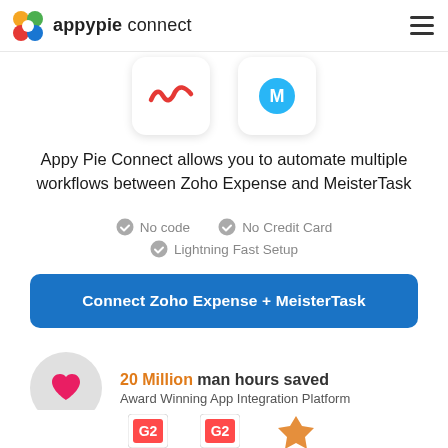appypie connect
[Figure (screenshot): Two app icon boxes: Zoho Expense (red squiggle icon) and MeisterTask (blue icon) shown as rounded rectangle cards]
Appy Pie Connect allows you to automate multiple workflows between Zoho Expense and MeisterTask
No code
No Credit Card
Lightning Fast Setup
Connect Zoho Expense + MeisterTask
20 Million man hours saved
Award Winning App Integration Platform
[Figure (logo): G2 badge logos and award badge partially visible at bottom]